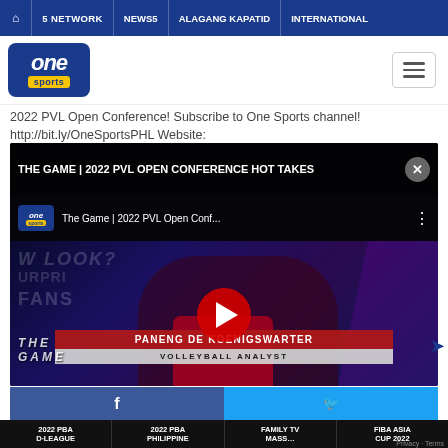🏠 | 5 NETWORK | NEWS5 | ALAGANG KAPATID | INTERNATIONAL
[Figure (logo): One Sports logo — blue rounded rectangle with 'one' in white italic and 'sports' in yellow tag]
2022 PVL Open Conference! Subscribe to One Sports channel! http://bit.ly/OneSportsPHL Website:
[Figure (screenshot): YouTube embedded video player showing 'THE GAME | 2022 PVL OPEN CONFERENCE HOT TAKES' with a female volleyball analyst (PANENG DE KOENIGSWARTER, VOLLEYBALL ANALYST) on screen with play button overlay. Lower thirds show name and title. THE GAME watermark at bottom left.]
[Figure (other): Social share bar with Facebook and Twitter buttons]
2022 PBA D·LEAGUE | 2022 PBA PHILIPPINE | FAMILY TV MASS | FIBA ASIA CUP 2022